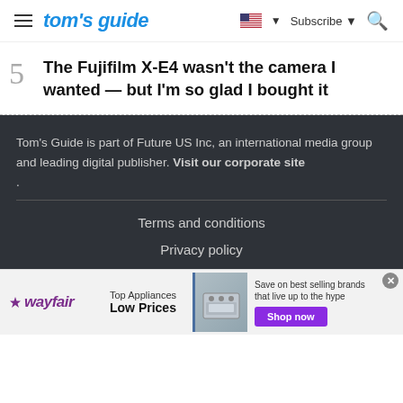tom's guide
5  The Fujifilm X-E4 wasn't the camera I wanted — but I'm so glad I bought it
Tom's Guide is part of Future US Inc, an international media group and leading digital publisher. Visit our corporate site .
Terms and conditions
Privacy policy
[Figure (other): Wayfair advertisement banner: Top Appliances Low Prices with stove image and Shop now button]